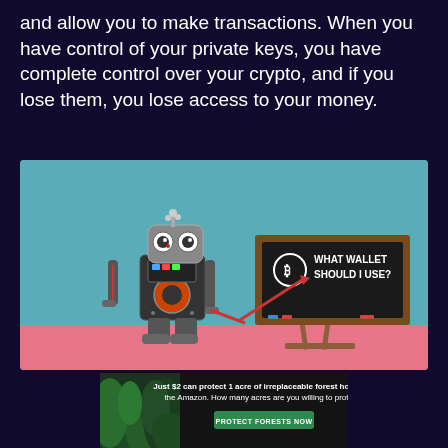and allow you to make transactions. When you have control of your private keys, you have complete control over your crypto, and if you lose them, you lose access to your money.
[Figure (photo): A toy robot pointing at a small chalkboard sign that reads 'WHAT WALLET SHOULD I USE?' with a Bitcoin symbol. The robot stands on a pink surface against a teal/blue background.]
[Figure (photo): Advertisement banner: forest/Amazon jungle photo on the left with text 'Just $2 can protect 1 acre of irreplaceable forest homes in the Amazon. How many acres are you willing to protect?' and a green 'PROTECT FORESTS NOW' button.]